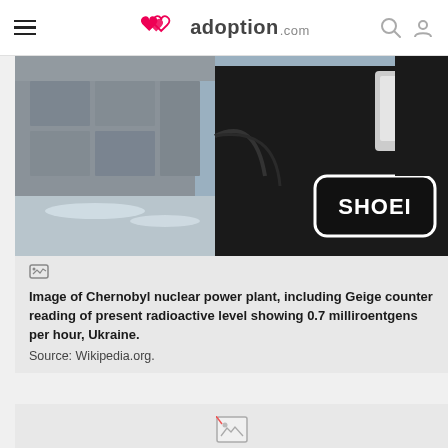adoption.com
[Figure (photo): Person wearing black SHOEI jacket/backpack photographing something at Chernobyl nuclear power plant, industrial concrete buildings in background, snowy ground.]
Image of Chernobyl nuclear power plant, including Geige counter reading of present radioactive level showing 0.7 milliroentgens per hour, Ukraine.
Source: Wikipedia.org.
[Figure (photo): Placeholder image icon for second figure.]
Girl wearing traditional Ukrainian dress.